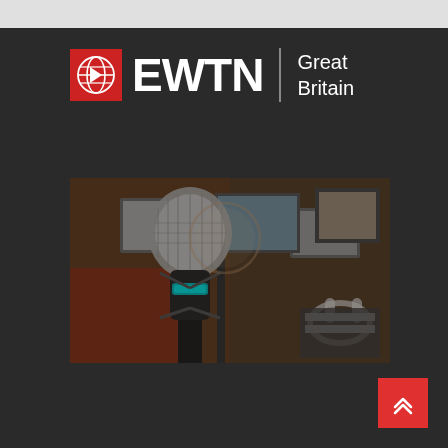[Figure (logo): EWTN Great Britain logo with red globe icon, white EWTN text, vertical divider, and 'Great Britain' text on dark background]
[Figure (photo): Studio microphone in the foreground with a blurred recording studio background showing equipment, monitors, and headphones]